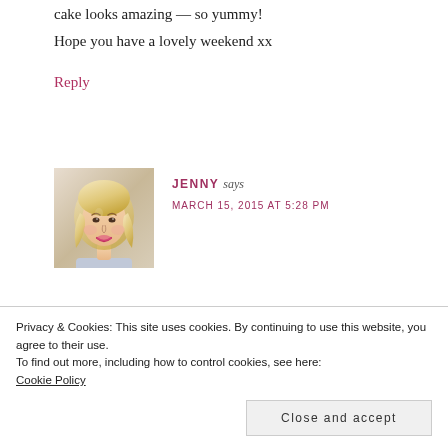cake looks amazing — so yummy!
Hope you have a lovely weekend xx
Reply
[Figure (photo): Profile photo of Jenny, a blonde woman smiling]
JENNY says
MARCH 15, 2015 AT 5:28 PM
Me too. They are fab posts. The kids...
Privacy & Cookies: This site uses cookies. By continuing to use this website, you agree to their use.
To find out more, including how to control cookies, see here:
Cookie Policy
Close and accept